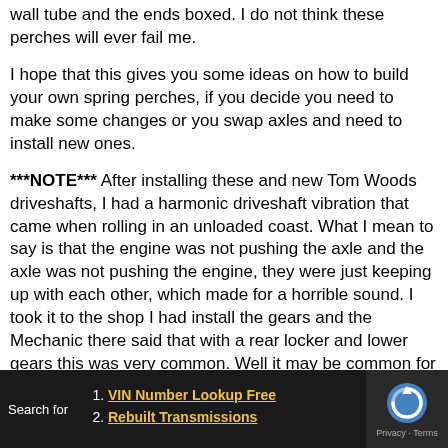wall tube and the ends boxed.  I do not think these perches will ever fail me.
I hope that this gives you some ideas on how to build your own spring perches, if you decide you need to make some changes or you swap axles and need to install new ones.
***NOTE*** After installing these and new Tom Woods driveshafts, I had a harmonic driveshaft vibration that came when rolling in an unloaded coast.  What I mean to say is that the engine was not pushing the axle and the axle was not pushing the engine, they were just keeping up with each other, which made for a horrible sound.  I took it to the shop I had install the gears and the Mechanic there said that with a rear locker and lower gears this was very common.  Well it may be common for him, but I don't like it a bit.  I shimmed the rear pinion up 2.5 degrees and this almost eliminated the noise.  It is
Search for
1. VIN Number Lookup Free
2. Rebuilt Transmissions